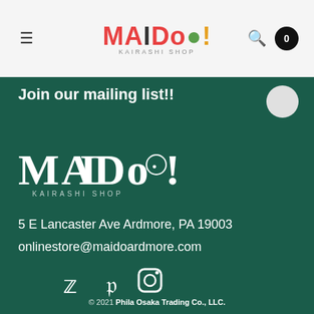MAIDO! KAIRASHI SHOP — navigation header with hamburger menu, logo, search icon, cart (0)
Join our mailing list!!
[Figure (logo): Maido! Kairashi Shop logo in white on dark teal background]
5 E Lancaster Ave Ardmore, PA 19003
onlinestore@maidoardmore.com
[Figure (infographic): Twitter, Facebook, and Instagram social media icons in white; Chat with us button]
© 2021 Phila Osaka Trading Co., LLC.